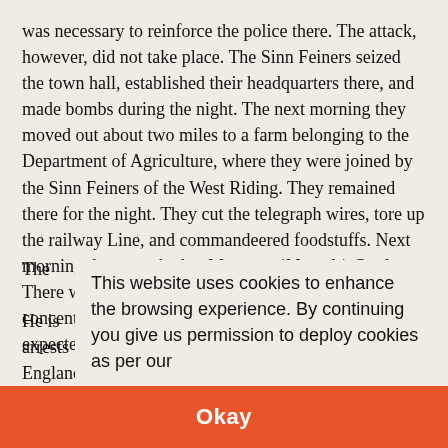was necessary to reinforce the police there. The attack, however, did not take place. The Sinn Feiners seized the town hall, established their headquarters there, and made bombs during the night. The next morning they moved out about two miles to a farm belonging to the Department of Agriculture, where they were joined by the Sinn Feiners of the West Riding. They remained there for the night. They cut the telegraph wires, tore up the railway Line, and commandeered foodstuffs. Next morning they marched to Moyvore (Moyode) Castle. There were about 1,000 of them altogether. The police concentrated at Loughrea and 200 extra men were expected from [partially obscured]
This website uses cookies to enhance the browsing experience. By continuing you give us permission to deploy cookies as per our Cookies Policy →
He is [partially obscured] arrests were made. Most of them were deported to England.